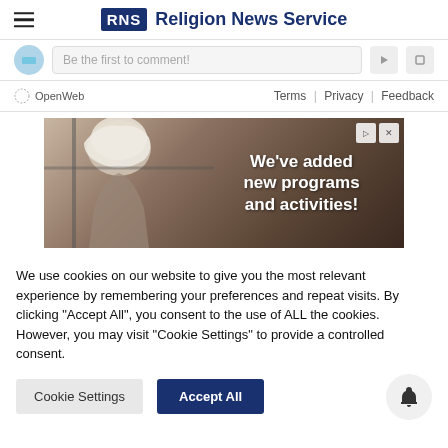Religion News Service
Be the first to comment!
OpenWeb   Terms | Privacy | Feedback
[Figure (photo): Advertisement banner showing an elderly person with white hair near a window, with text overlay reading 'We've added new programs and activities!']
We use cookies on our website to give you the most relevant experience by remembering your preferences and repeat visits. By clicking "Accept All", you consent to the use of ALL the cookies. However, you may visit "Cookie Settings" to provide a controlled consent.
Cookie Settings   Accept All